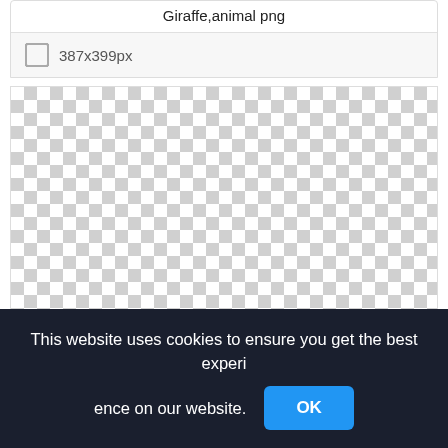Giraffe,animal png
387x399px
[Figure (other): Transparent/empty image preview area shown as a checkerboard pattern indicating a transparent PNG canvas]
This website uses cookies to ensure you get the best experience on our website.